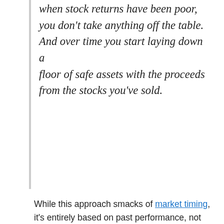when stock returns have been poor, you don't take anything off the table. And over time you start laying down a floor of safe assets with the proceeds from the stocks you've sold.
While this approach smacks of market timing, it's entirely based on past performance, not future performance and so requires no predictive ability.
He's just suggesting that your gradual transition from a 75% stock portfolio to a 25% stock portfolio doesn't have to occur in an even manner. It's okay to reduce the risk level using broad…